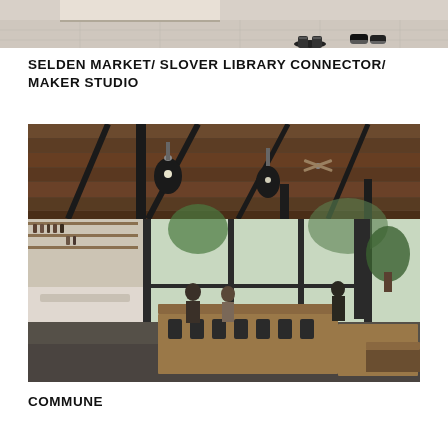[Figure (photo): Partial top photo showing feet/shoes of people standing on a light-colored floor, cropped at the top of the page]
SELDEN MARKET/ SLOVER LIBRARY CONNECTOR/ MAKER STUDIO
[Figure (photo): Interior photo of a market/restaurant space called Commune, featuring wooden ceiling with exposed black steel beams, pendant lights, a white bar counter on the left stocked with bottles and shelves, long communal wooden tables with black metal chairs, concrete floor, and large windows at the back revealing outdoor greenery]
COMMUNE